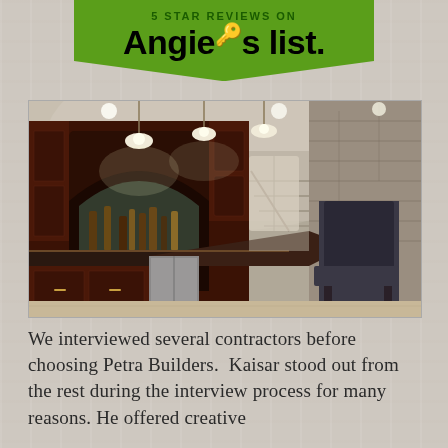[Figure (logo): Angie's List green badge/banner logo with key icon and bold black text on green background]
[Figure (photo): Interior photo of a luxury home bar with dark cherry wood cabinetry, arched mirror back bar, pendant lights, granite countertop bar seating with upholstered chairs, and stone accent wall]
We interviewed several contractors before choosing Petra Builders.  Kaisar stood out from the rest during the interview process for many reasons. He offered creative